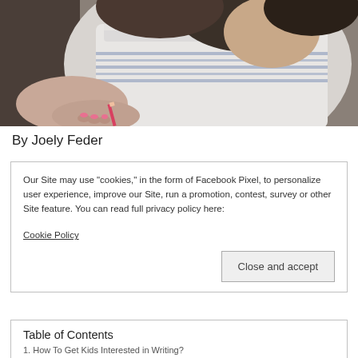[Figure (photo): Child writing with a pencil, wearing a white lace-trimmed top with blue stripes, photographed from above/side angle]
By Joely Feder
Our Site may use "cookies," in the form of Facebook Pixel, to personalize user experience, improve our Site, run a promotion, contest, survey or other Site feature. You can read full privacy policy here:

Cookie Policy
Close and accept
Table of Contents
1. How To Get Kids Interested in Writing?